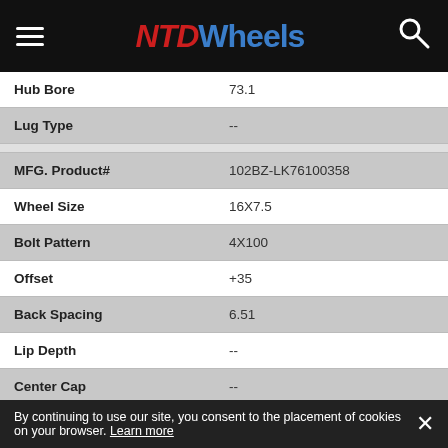NTD Wheels
| Property | Value |
| --- | --- |
| Hub Bore | 73.1 |
| Lug Type | -- |
| MFG. Product# | 102BZ-LK76100358 |
| Wheel Size | 16X7.5 |
| Bolt Pattern | 4X100 |
| Offset | +35 |
| Back Spacing | 6.51 |
| Lip Depth | -- |
| Center Cap | -- |
| Load Rating | 1100 |
| Wheel Weight | 32.5 |
| Hub Bore | 73.1 |
By continuing to use our site, you consent to the placement of cookies on your browser. Learn more